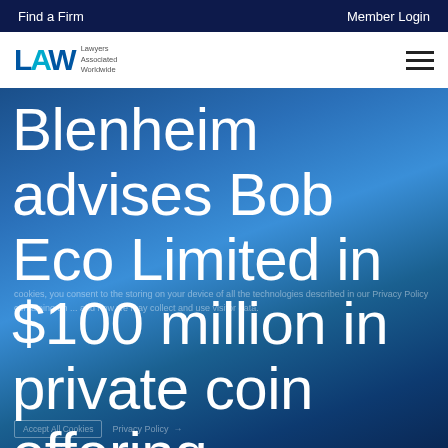Find a Firm   Member Login
[Figure (logo): LAW - Lawyers Associated Worldwide logo with hamburger menu]
Blenheim advises Bob Eco Limited in $100 million in private coin offering
cookies, you consent to the storing on your device of all the technologies described in our Privacy Policy containing an ... and how we may collect and use visitor data.
Accept All Cookies   Privacy Policy →